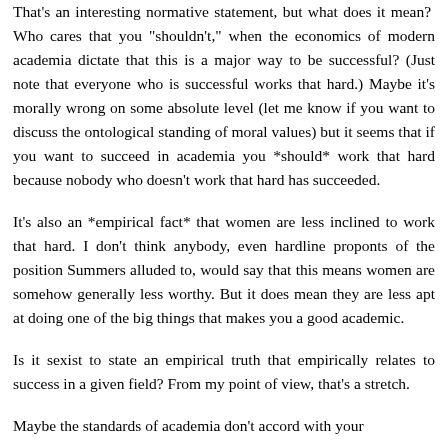That's an interesting normative statement, but what does it mean? Who cares that you "shouldn't," when the economics of modern academia dictate that this is a major way to be successful? (Just note that everyone who is successful works that hard.) Maybe it's morally wrong on some absolute level (let me know if you want to discuss the ontological standing of moral values) but it seems that if you want to succeed in academia you *should* work that hard because nobody who doesn't work that hard has succeeded.
It's also an *empirical fact* that women are less inclined to work that hard. I don't think anybody, even hardline proponts of the position Summers alluded to, would say that this means women are somehow generally less worthy. But it does mean they are less apt at doing one of the big things that makes you a good academic.
Is it sexist to state an empirical truth that empirically relates to success in a given field? From my point of view, that's a stretch.
Maybe the standards of academia don't accord with your